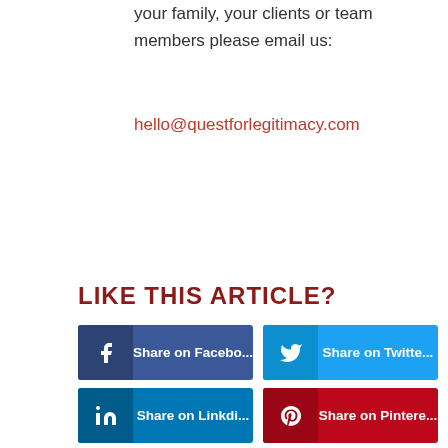your family, your clients or team members please email us:
hello@questforlegitimacy.com
LIKE THIS ARTICLE?
Share on Facebook
Share on Twitter
Share on LinkedIn
Share on Pinterest